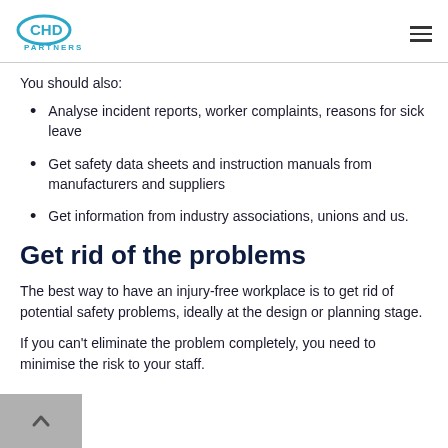CHD PARTNERS
You should also:
Analyse incident reports, worker complaints, reasons for sick leave
Get safety data sheets and instruction manuals from manufacturers and suppliers
Get information from industry associations, unions and us.
Get rid of the problems
The best way to have an injury-free workplace is to get rid of potential safety problems, ideally at the design or planning stage.
If you can't eliminate the problem completely, you need to minimise the risk to your staff.